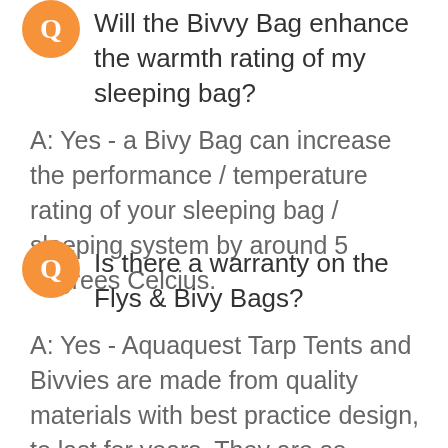Q: Will the Bivvy Bag enhance the warmth rating of my sleeping bag?
A: Yes - a Bivy Bag can increase the performance / temperature rating of your sleeping bag / sleeping system by around 5 degrees Celcius.
Q: Is there a warranty on the Flys & Bivy Bags?
A: Yes - Aquaquest Tarp Tents and Bivvies are made from quality materials with best practice design, to last for years. They are so durable they come with a 2 year 'no worries' warranty - Materials & Craftmanship